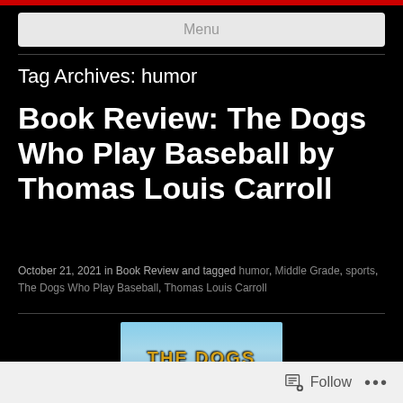Menu
Tag Archives: humor
Book Review: The Dogs Who Play Baseball by Thomas Louis Carroll
October 21, 2021 in Book Review and tagged humor, Middle Grade, sports, The Dogs Who Play Baseball, Thomas Louis Carroll
[Figure (photo): Book cover of 'The Dogs Who Play Baseball' — gold/yellow text on a blue sky background showing 'THE DOGS']
Follow ...